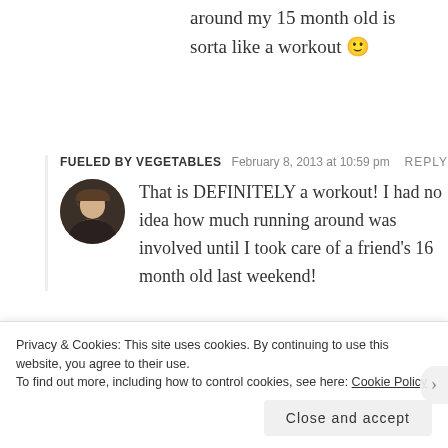around my 15 month old is sorta like a workout 🙂
FUELED BY VEGETABLES   February 8, 2013 at 10:59 pm   REPLY
That is DEFINITELY a workout! I had no idea how much running around was involved until I took care of a friend's 16 month old last weekend!
Lots of love and respect for you and all the
Privacy & Cookies: This site uses cookies. By continuing to use this website, you agree to their use. To find out more, including how to control cookies, see here: Cookie Policy
Close and accept